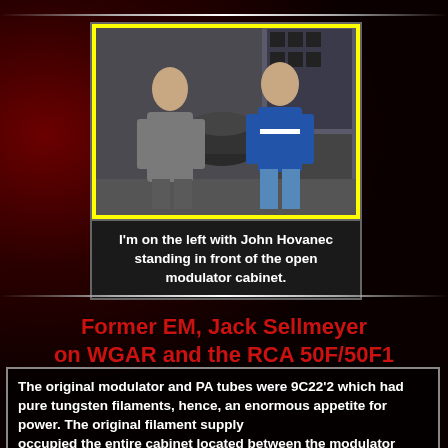[Figure (photo): Two men standing in front of an open modulator cabinet in a broadcast transmitter room. Yellow border around the photograph.]
I'm on the left with John Hovanec standing in front of the open modulator cabinet.
Former EM, Jack Sellmeyer on WGAR and the RCA 50F/50F1
The original modulator and PA tubes were 9C22'2 which had pure tungsten filaments, hence, an enormous appetite for power. The original filament supply occupied the entire cabinet located between the modulator cabinet and the RF PA cabinet. Each tube (of the four active